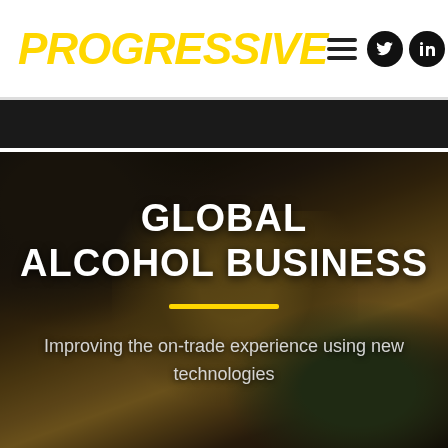PROGRESSIVE
[Figure (photo): Blurred background photo of people clinking glasses/beer mugs in a celebration or toast, with dark overlay. Contains text overlay with the article headline and subtitle.]
GLOBAL ALCOHOL BUSINESS
Improving the on-trade experience using new technologies